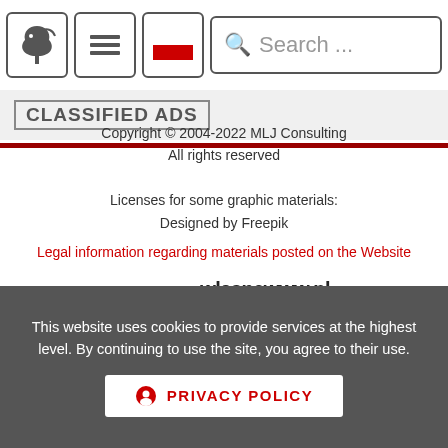[Figure (screenshot): Website navigation bar with horse logo icon, hamburger menu icon, Polish flag icon, and a search box with 'Search ...' placeholder text]
CLASSIFIED ADS
Copyright © 2004-2022 MLJ Consulting
All rights reserved

Licenses for some graphic materials:
Designed by Freepik
Legal information regarding materials posted on the Website
Created by: wlasnewww.pl websites with ♥
This website uses cookies to provide services at the highest level. By continuing to use the site, you agree to their use.
PRIVACY POLICY